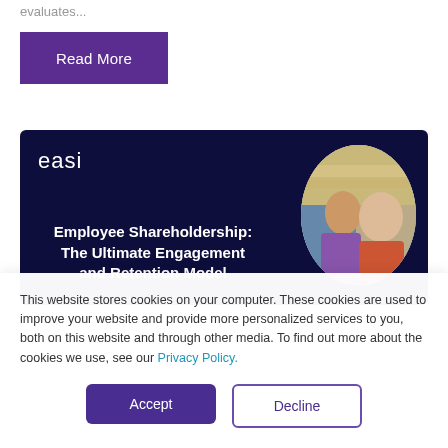evaluates...
Read More
[Figure (illustration): Dark navy banner card with 'easi' logo top left, bold white text 'Employee Shareholdership: The Ultimate Engagement and Retention Model', and a circular photo of two people on the right side]
This website stores cookies on your computer. These cookies are used to improve your website and provide more personalized services to you, both on this website and through other media. To find out more about the cookies we use, see our Privacy Policy.
Accept
Decline